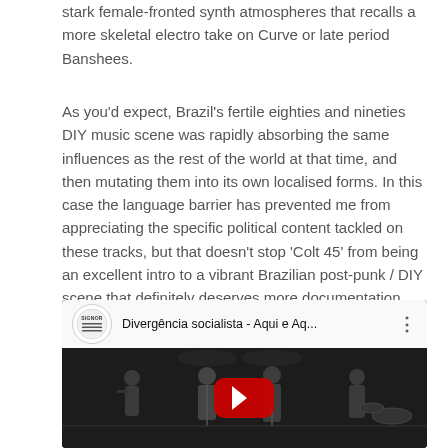stark female-fronted synth atmospheres that recalls a more skeletal electro take on Curve or late period Banshees.
As you'd expect, Brazil's fertile eighties and nineties DIY music scene was rapidly absorbing the same influences as the rest of the world at that time, and then mutating them into its own localised forms. In this case the language barrier has prevented me from appreciating the specific political content tackled on these tracks, but that doesn't stop 'Colt 45' from being an excellent intro to a vibrant Brazilian post-punk / DIY scene that definitely deserves more documentation.
[Figure (screenshot): Embedded YouTube video player showing a band performing on stage. The video header shows a channel logo (SIGNOR) and the title 'Divergência socialista - Aqui e Aq...' with a three-dot menu icon. The video thumbnail shows band members performing on stage in black and white with a red YouTube play button in the center.]